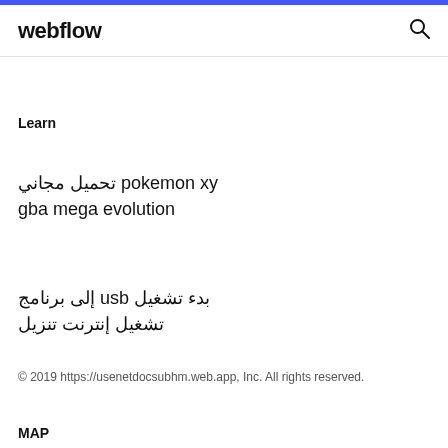webflow
Learn
تحميل مجاني pokemon xy gba mega evolution
إلى برنامج usb بدء تشغيل تشغيل إنترنت تنزيل
© 2019 https://usenetdocsubhm.web.app, Inc. All rights reserved.
MAP